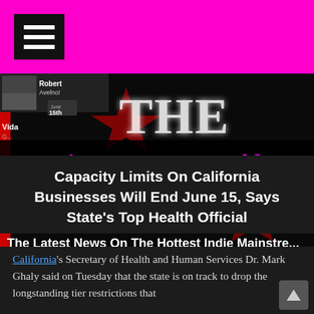[Figure (screenshot): Pink top navigation bar with hamburger menu icon]
[Figure (photo): Jimmy Star's World website banner: collage of show thumbnails with red, black, and white theme. Large stylized 'THE' text, TV icon, and 'WITH RON RUSSELL' text visible. Overlay shows 'JIMMY STAR'S WORLD' in purple/magenta italic text on dark background. Subtitle reads 'The Latest News On The Hottest Indie Mainstre...']
Capacity Limits On California Businesses Will End June 15, Says State's Top Health Official
California's Secretary of Health and Human Services Dr. Mark Ghaly said on Tuesday that the state is on track to drop the longstanding tier restrictions that